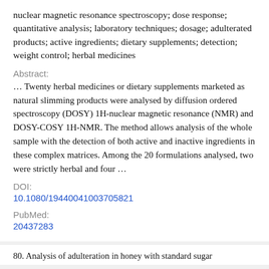nuclear magnetic resonance spectroscopy; dose response; quantitative analysis; laboratory techniques; dosage; adulterated products; active ingredients; dietary supplements; detection; weight control; herbal medicines
Abstract:
… Twenty herbal medicines or dietary supplements marketed as natural slimming products were analysed by diffusion ordered spectroscopy (DOSY) 1H-nuclear magnetic resonance (NMR) and DOSY-COSY 1H-NMR. The method allows analysis of the whole sample with the detection of both active and inactive ingredients in these complex matrices. Among the 20 formulations analysed, two were strictly herbal and four …
DOI:
10.1080/19440041003705821
PubMed:
20437283
80. Analysis of adulteration in honey with standard sugar